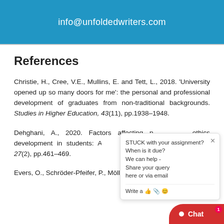info@unfoldedwriters.com
References
Christie, H., Cree, V.E., Mullins, E. and Tett, L., 2018. 'University opened up so many doors for me': the personal and professional development of graduates from non-traditional backgrounds. Studies in Higher Education, 43(11), pp.1938–1948.
Dehghani, A., 2020. Factors affecting professional ethics development in students: A qualitative study. Nursing Ethics, 27(2), pp.461–469.
Evers, O., Schröder-Pfeifer, P., Möller, H. and Taubner, S.,